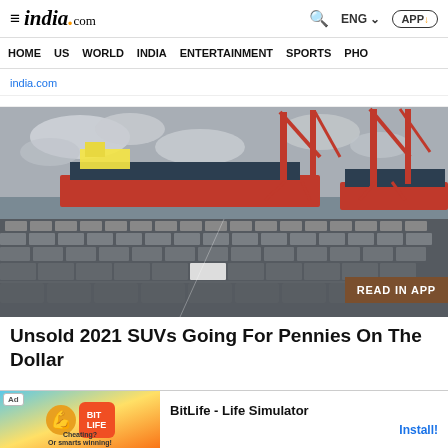india.com — ENG — APP
HOME  US  WORLD  INDIA  ENTERTAINMENT  SPORTS  PHO
india.com
[Figure (photo): Rows of cars parked at a port with large red cranes and a cargo ship in the background.]
Unsold 2021 SUVs Going For Pennies On The Dollar
[Figure (infographic): Ad banner: BitLife - Life Simulator app advertisement with Install button.]